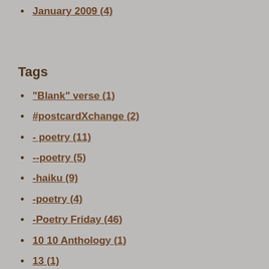January 2009 (4)
Tags
"Blank" verse (1)
#postcardXchange (2)
- poetry (11)
--poetry (5)
-haiku (9)
-poetry (4)
-Poetry Friday (46)
10 10 Anthology (1)
13 (1)
19th Century (1)
2016 Kidlit Progressive Poem (1)
2017 (1)
2018 Kidlit Progressive Poem (1)